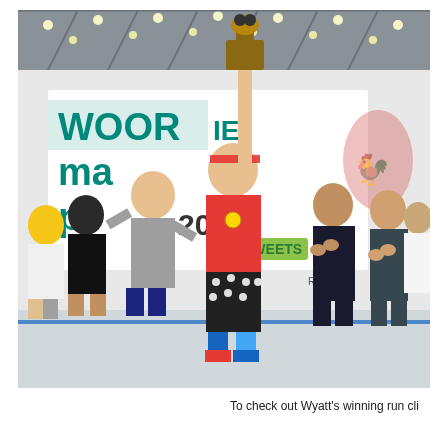[Figure (photo): A person in a red t-shirt, patterned shorts, and blue shoes raises a trophy above their head on a stage. A banner in the background reads 'WOORIME [something] Cup 2015 SWEETS'. Other people on stage are clapping and cheering. The setting appears to be an indoor arena or convention hall.]
To check out Wyatt's winning run cli